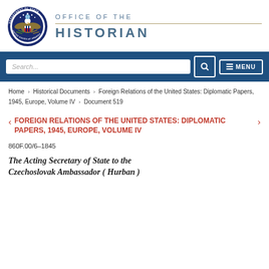[Figure (logo): US Department of State seal / eagle emblem circular logo with text 'Department of State United States of America']
OFFICE OF THE HISTORIAN
Search... [search button] [MENU button]
Home › Historical Documents › Foreign Relations of the United States: Diplomatic Papers, 1945, Europe, Volume IV › Document 519
FOREIGN RELATIONS OF THE UNITED STATES: DIPLOMATIC PAPERS, 1945, EUROPE, VOLUME IV
860F.00/6–1845
The Acting Secretary of State to the Czechoslovak Ambassador ( Hurban )